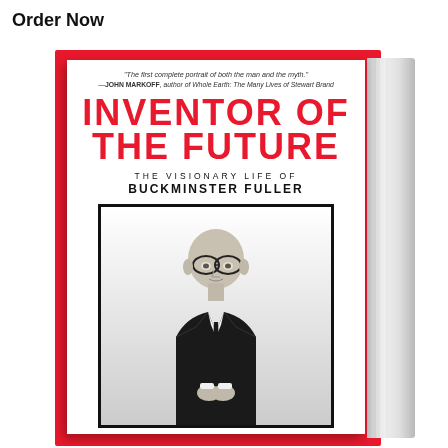Order Now
[Figure (photo): Book cover of 'Inventor of the Future: The Visionary Life of Buckminster Fuller'. The cover features a red background with white cover showing the title in large red letters and a black-and-white photograph of Buckminster Fuller in a suit. A blurb reads: 'The first complete portrait of both the man and the myth.' —JOHN MARKOFF, author of Whole Earth: The Many Lives of Stewart Brand]